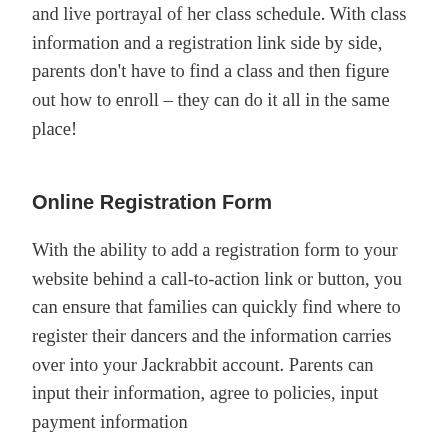and live portrayal of her class schedule. With class information and a registration link side by side, parents don't have to find a class and then figure out how to enroll – they can do it all in the same place!
Online Registration Form
With the ability to add a registration form to your website behind a call-to-action link or button, you can ensure that families can quickly find where to register their dancers and the information carries over into your Jackrabbit account. Parents can input their information, agree to policies, input payment information